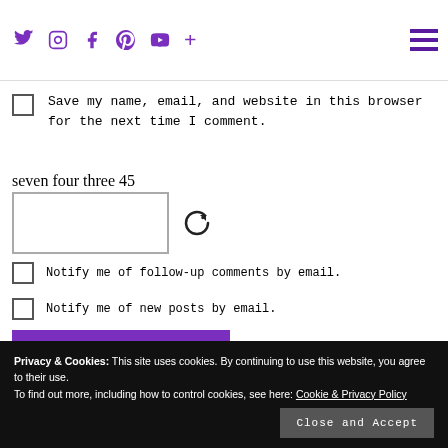Social icons: twitter, instagram, facebook, pinterest, youtube, plus; hamburger menu
Save my name, email, and website in this browser for the next time I comment.
seven four three 45
Notify me of follow-up comments by email.
Notify me of new posts by email.
POST COMMENT
Privacy & Cookies: This site uses cookies. By continuing to use this website, you agree to their use. To find out more, including how to control cookies, see here: Cookie & Privacy Policy
Close and Accept